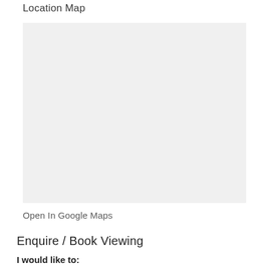Location Map
[Figure (map): A location map (blank/not loaded area) showing a geographic view]
Open In Google Maps
Enquire / Book Viewing
I would like to: